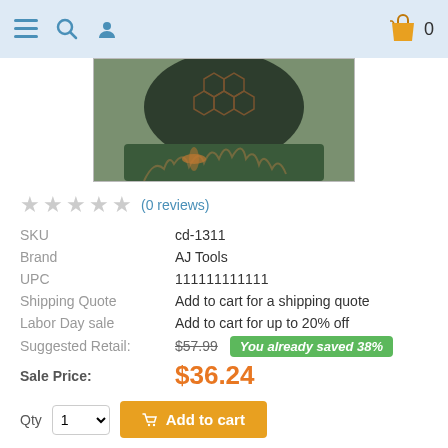Navigation bar with menu, search, user icons and shopping cart (0 items)
[Figure (photo): Close-up photo of a decorative figurine with honeycomb texture and greenish-brown patina finish, sitting on a base with flame-like details.]
★ ★ ★ ★ ★ (0 reviews)
| Field | Value |
| --- | --- |
| SKU | cd-1311 |
| Brand | AJ Tools |
| UPC | 111111111111 |
| Shipping Quote | Add to cart for a shipping quote |
| Labor Day sale | Add to cart for up to 20% off |
| Suggested Retail: | $57.99   You already saved 38% |
| Sale Price: | $36.24 |
Qty 1 Add to cart